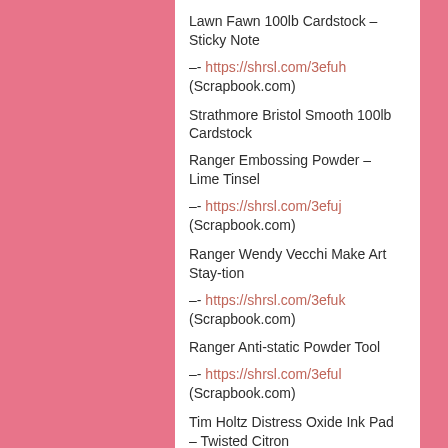Lawn Fawn 100lb Cardstock – Sticky Note
–- https://shrsl.com/3efuh (Scrapbook.com)
Strathmore Bristol Smooth 100lb Cardstock
Ranger Embossing Powder – Lime Tinsel
–- https://shrsl.com/3efuj (Scrapbook.com)
Ranger Wendy Vecchi Make Art Stay-tion
–- https://shrsl.com/3efuk (Scrapbook.com)
Ranger Anti-static Powder Tool
–- https://shrsl.com/3eful (Scrapbook.com)
Tim Holtz Distress Oxide Ink Pad – Twisted Citron
–- https://shrsl.com/3efuo (Scrapbook.com)